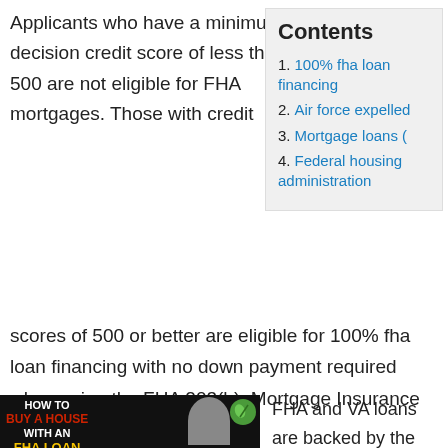Applicants who have a minimum decision credit score of less than 500 are not eligible for FHA mortgages. Those with credit
Contents
1. 100% fha loan financing
2. Air force expelled
3. Mortgage loans (
4. Federal housing administration
scores of 500 or better are eligible for 100% fha loan financing with no down payment required when using the FHA 203(h), Mortgage Insurance for Disaster Victims.
[Figure (photo): HOW TO BUY A HOUSE WITH AN FHA LOAN promotional image with a man's face and a cartoon leaf character]
FHA and VA loans are backed by the